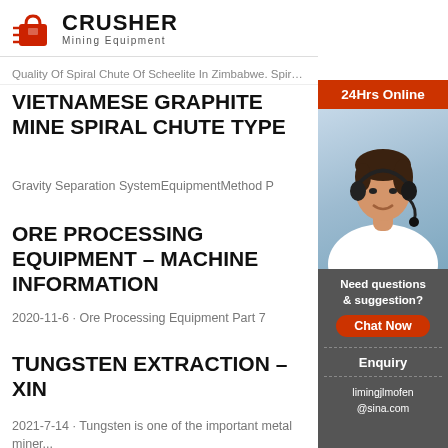CRUSHER Mining Equipment
Quality Of Spiral Chute Of Scheelite In Zimbabwe. Spiral Ch...
VIETNAMESE GRAPHITE MINE SPIRAL CHUTE TYPE
Gravity Separation SystemEquipmentMethod P
ORE PROCESSING EQUIPMENT – MACHINE INFORMATION
2020-11-6 · Ore Processing Equipment Part 7
TUNGSTEN EXTRACTION – XIN
2021-7-14 · Tungsten is one of the important metal miner...
[Figure (photo): Customer service representative with headset, used as sidebar contact widget with '24Hrs Online' header, 'Need questions & suggestion?', 'Chat Now' button, 'Enquiry', and email limingjlmofen@sina.com]